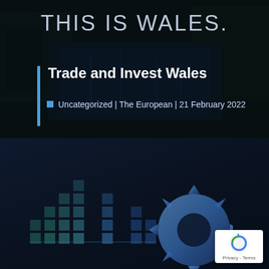[Figure (photo): Dark background showing a waterway/canal scene with trees reflected in dark water, overlaid with dark blue tint. Text 'THIS IS WALES.' appears at the top in large light letters.]
Trade and Invest Wales
Uncategorized | The European | 21 February 2022
[Figure (illustration): Dark navy blue background with decorative pixel/square grid pattern in teal/blue tones forming bar-chart-like columns, and a large blue metallic gear/cog shape on the right side. A small Google reCAPTCHA badge appears in the bottom right corner.]